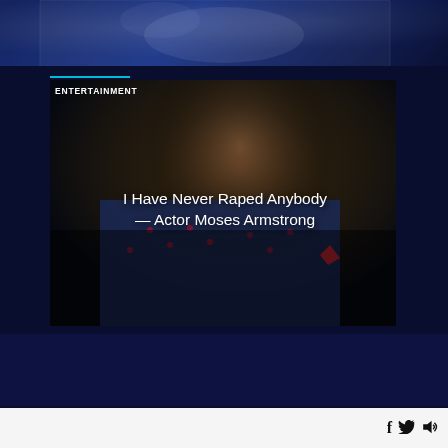[Figure (photo): Partial top portion of a person on stage with blue lighting, cropped at top of page]
ENTERTAINMENT
[Figure (photo): A man with a beard wearing a blue patterned blazer, looking intensely at the camera — article thumbnail for entertainment story]
I Have Never Raped Anybody — Actor Moses Armstrong
[Figure (other): Video player bar with play button, progress bar, and dropdown arrow]
[Figure (other): Footer bar with social media icons: Facebook, Twitter, Speaker/audio]